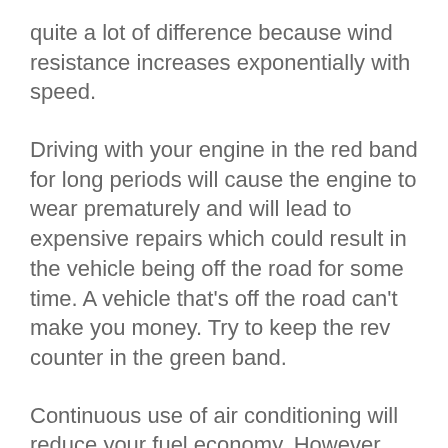quite a lot of difference because wind resistance increases exponentially with speed.
Driving with your engine in the red band for long periods will cause the engine to wear prematurely and will lead to expensive repairs which could result in the vehicle being off the road for some time. A vehicle that's off the road can't make you money. Try to keep the rev counter in the green band.
Continuous use of air conditioning will reduce your fuel economy. However, driving with the window open also has the same effect because it reduces the aerodynamic efficiency of the cab. Rather than use air conditioning, can you take a layer of clothing off? Air conditioning can use around 15% more fuel than not using it.